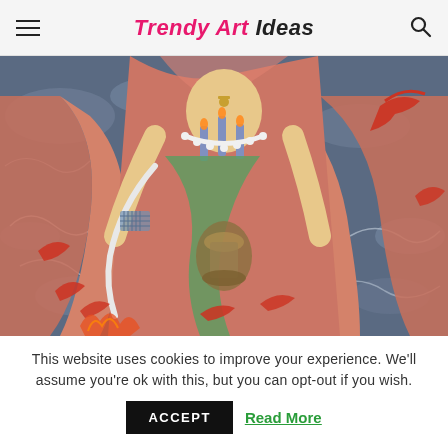Trendy Art Ideas
[Figure (illustration): Colorful painting of a deity or mythological figure in traditional Asian style, holding objects including candles and a rounded vessel, surrounded by red birds, swirling clouds in blue-grey, set against pink/salmon robes and green accents.]
This website uses cookies to improve your experience. We'll assume you're ok with this, but you can opt-out if you wish.
ACCEPT   Read More